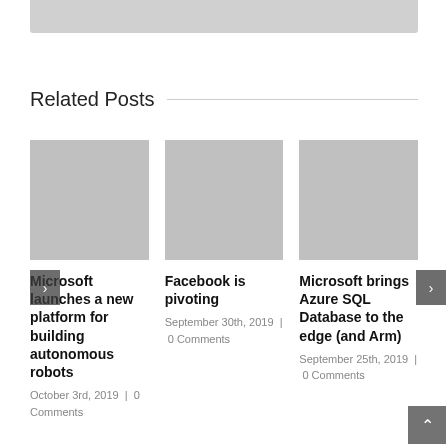Related Posts
[Figure (photo): Thumbnail image placeholder for Microsoft launches a new platform for building autonomous robots]
Microsoft launches a new platform for building autonomous robots
October 3rd, 2019  |  0 Comments
[Figure (photo): Thumbnail image placeholder for Facebook is pivoting]
Facebook is pivoting
September 30th, 2019  |  0 Comments
[Figure (photo): Thumbnail image placeholder for Microsoft brings Azure SQL Database to the edge (and Arm)]
Microsoft brings Azure SQL Database to the edge (and Arm)
September 25th, 2019  |  0 Comments